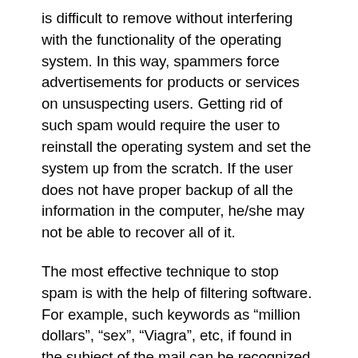is difficult to remove without interfering with the functionality of the operating system. In this way, spammers force advertisements for products or services on unsuspecting users. Getting rid of such spam would require the user to reinstall the operating system and set the system up from the scratch. If the user does not have proper backup of all the information in the computer, he/she may not be able to recover all of it.
The most effective technique to stop spam is with the help of filtering software. For example, such keywords as “million dollars”, “sex”, “Viagra”, etc, if found in the subject of the mail can be recognized as spam and deleted. However, these filters are quite easy to circumvent by spelling the keywords in unusual formats. Add to this the problem of blocking genuine e-mail that we intend to receive. Recent innovations known as Bayesian filters and heuristic filters use more advanced filtering techniques that are more effective in blocking spam. Unfortunately, every advance in controlling spam is matched by innovations from spammers to sidestep the hurdles. This is evident from the constant introduction of